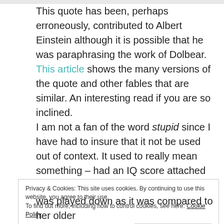This quote has been, perhaps erroneously, contributed to Albert Einstein although it is possible that he was paraphrasing the work of Dolbear. This article shows the many versions of the quote and other fables that are similar. An interesting read if you are so inclined. I am not a fan of the word stupid since I have had to insure that it not be used out of context. It used to really mean something – had an IQ score attached and everything. But now it typically means a child is judging another child on his or her ability to do something that said child was not necessarily designed to do.
Privacy & Cookies: This site uses cookies. By continuing to use this website, you agree to their use. To find out more, including how to control cookies, see here: Cookie Policy
Close and accept
was played down as it was compared to her older